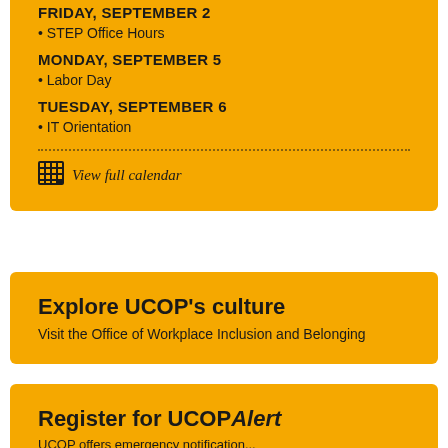FRIDAY, SEPTEMBER 2
• STEP Office Hours
MONDAY, SEPTEMBER 5
• Labor Day
TUESDAY, SEPTEMBER 6
• IT Orientation
View full calendar
Explore UCOP's culture
Visit the Office of Workplace Inclusion and Belonging
Register for UCOP Alert
UCOP offers emergency notification...